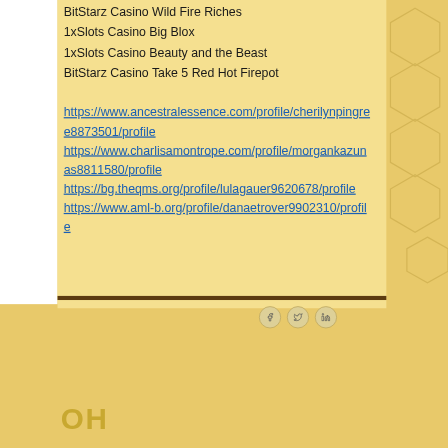BitStarz Casino Wild Fire Riches
1xSlots Casino Big Blox
1xSlots Casino Beauty and the Beast
BitStarz Casino Take 5 Red Hot Firepot
https://www.ancestralessence.com/profile/cherilynpingree8873501/profile https://www.charlisamontrope.com/profile/morgankazunas8811580/profile https://bg.theqms.org/profile/lulagauer9620678/profile https://www.aml-b.org/profile/danaetrover9902310/profile
[Figure (other): Social media share icons: Facebook, Twitter, LinkedIn in circular buttons]
OH